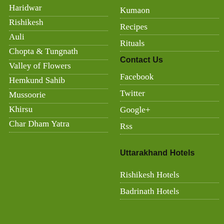Haridwar
Rishikesh
Auli
Chopta & Tungnath
Valley of Flowers
Hemkund Sahib
Mussoorie
Khirsu
Char Dham Yatra
Kumaon
Recipes
Rituals
Contact Us
Facebook
Twitter
Google+
Rss
Uttarakhand Hotels
Rishikesh Hotels
Badrinath Hotels